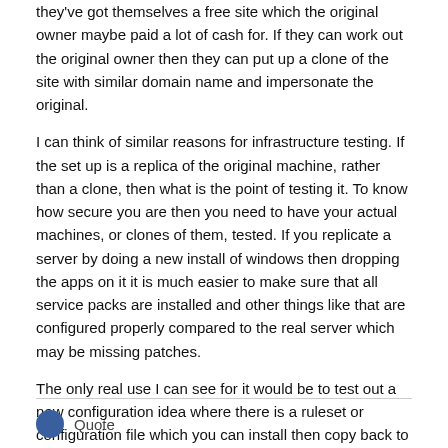they've got themselves a free site which the original owner maybe paid a lot of cash for. If they can work out the original owner then they can put up a clone of the site with similar domain name and impersonate the original.
I can think of similar reasons for infrastructure testing. If the set up is a replica of the original machine, rather than a clone, then what is the point of testing it. To know how secure you are then you need to have your actual machines, or clones of them, tested. If you replicate a server by doing a new install of windows then dropping the apps on it it is much easier to make sure that all service packs are installed and other things like that are configured properly compared to the real server which may be missing patches.
The only real use I can see for it would be to test out a new configuration idea where there is a ruleset or configuration file which you can install then copy back to a real system afterwards, even then, using a replica of the system might mean differences which make the tests invalid.